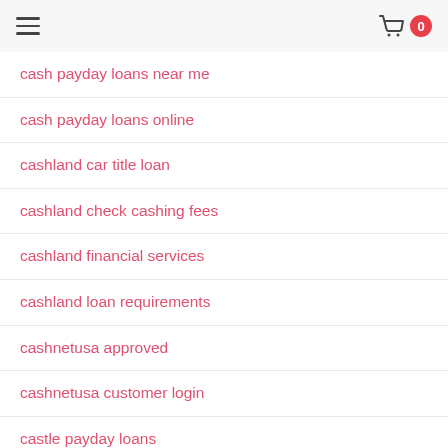≡  [cart] 0
cash payday loans near me
cash payday loans online
cashland car title loan
cashland check cashing fees
cashland financial services
cashland loan requirements
cashnetusa approved
cashnetusa customer login
castle payday loans
Catalog Brides
Catholic Dating Sites app